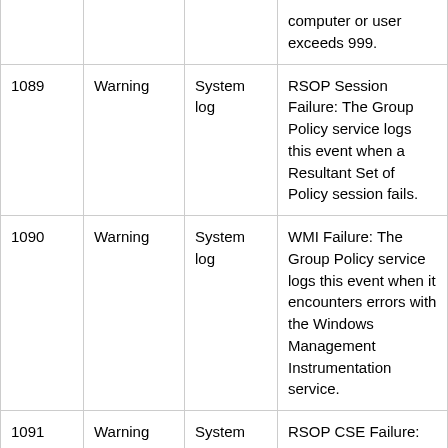|  |  |  | computer or user exceeds 999. |
| 1089 | Warning | System log | RSOP Session Failure: The Group Policy service logs this event when a Resultant Set of Policy session fails. |
| 1090 | Warning | System log | WMI Failure: The Group Policy service logs this event when it encounters errors with the Windows Management Instrumentation service. |
| 1091 | Warning | System log | RSOP CSE Failure: The Group Policy service logs this event when a Group Policy client side extension fails to record Resultant Set of Policy information. |